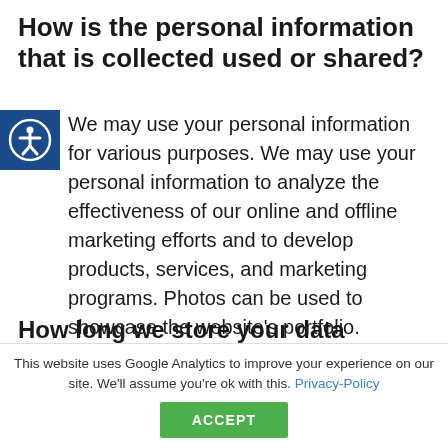How is the personal information that is collected used or shared?
We may use your personal information for various purposes. We may use your personal information to analyze the effectiveness of our online and offline marketing efforts and to develop products, services, and marketing programs. Photos can be used to showcase the website’s portfolio.
How long we store your data
This website uses Google Analytics to improve your experience on our site. We’ll assume you’re ok with this. Privacy-Policy
ACCEPT